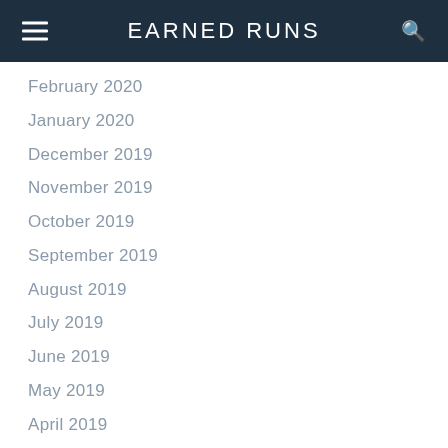EARNED RUNS
February 2020
January 2020
December 2019
November 2019
October 2019
September 2019
August 2019
July 2019
June 2019
May 2019
April 2019
March 2019
February 2019
January 2019
December 2018
November 2018
October 2018
September 2018
August 2018